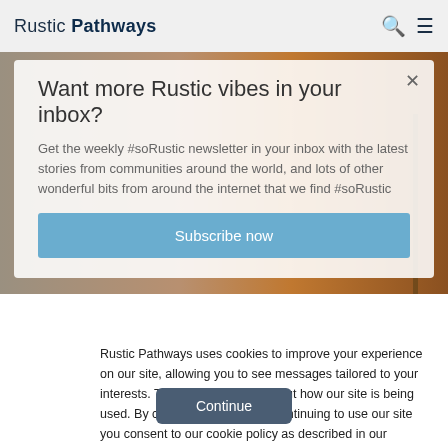Rustic Pathways
Want more Rustic vibes in your inbox?
Get the weekly #soRustic newsletter in your inbox with the latest stories from communities around the world, and lots of other wonderful bits from around the internet that we find #soRustic
Subscribe now
Rustic Pathways uses cookies to improve your experience on our site, allowing you to see messages tailored to your interests. They also help us find out how our site is being used. By clicking "Continue" or continuing to use our site you consent to our cookie policy as described in our privacy policy.
Continue